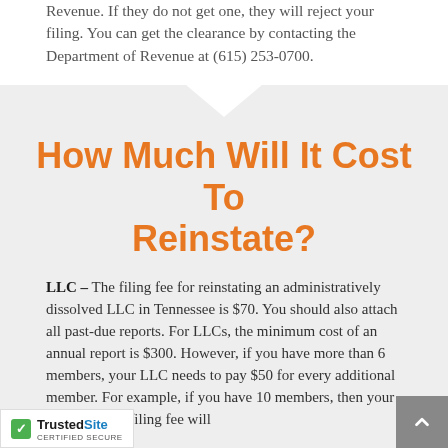Revenue. If they do not get one, they will reject your filing. You can get the clearance by contacting the Department of Revenue at (615) 253-0700.
How Much Will It Cost To Reinstate?
LLC – The filing fee for reinstating an administratively dissolved LLC in Tennessee is $70. You should also attach all past-due reports. For LLCs, the minimum cost of an annual report is $300. However, if you have more than 6 members, your LLC needs to pay $50 for every additional member. For example, if you have 10 members, then your annual report filing fee will